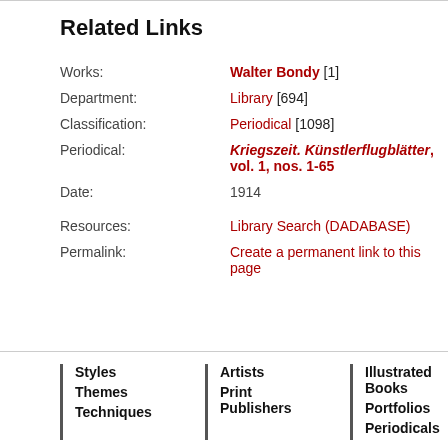Related Links
| Works: | Walter Bondy [1] |
| Department: | Library [694] |
| Classification: | Periodical [1098] |
| Periodical: | Kriegszeit. Künstlerflugblätter, vol. 1, nos. 1-65 |
| Date: | 1914 |
| Resources: | Library Search (DADABASE) |
| Permalink: | Create a permanent link to this page |
Styles
Themes
Techniques
Artists
Print Publishers
Illustrated Books
Portfolios
Periodicals